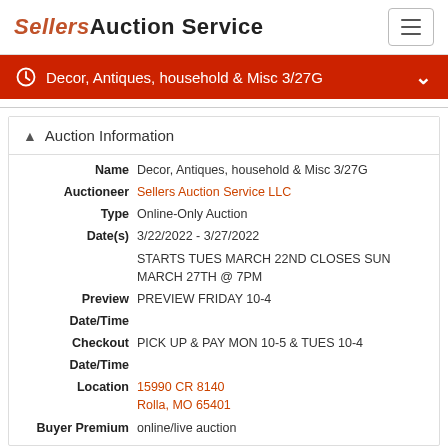SELLERS AUCTION SERVICE
Decor, Antiques, household & Misc 3/27G
Auction Information
| Field | Value |
| --- | --- |
| Name | Decor, Antiques, household & Misc 3/27G |
| Auctioneer | Sellers Auction Service LLC |
| Type | Online-Only Auction |
| Date(s) | 3/22/2022 - 3/27/2022 |
|  | STARTS TUES MARCH 22ND CLOSES SUN MARCH 27TH @ 7pM |
| Preview Date/Time | PREVIEW FRIDAY 10-4 |
| Checkout Date/Time | PICK UP & PAY MON 10-5 & TUES 10-4 |
| Location | 15990 CR 8140
Rolla, MO 65401 |
| Buyer Premium | online/live auction |